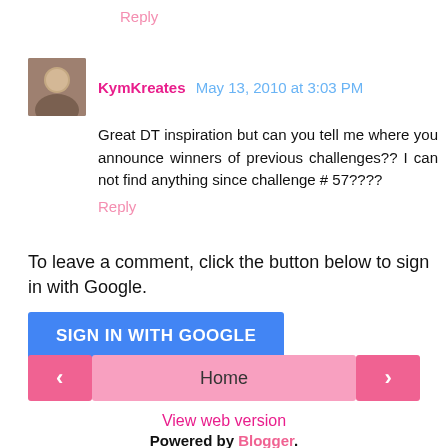Reply
KymKreates May 13, 2010 at 3:03 PM
Great DT inspiration but can you tell me where you announce winners of previous challenges?? I can not find anything since challenge # 57????
Reply
To leave a comment, click the button below to sign in with Google.
SIGN IN WITH GOOGLE
Home
View web version
Powered by Blogger.